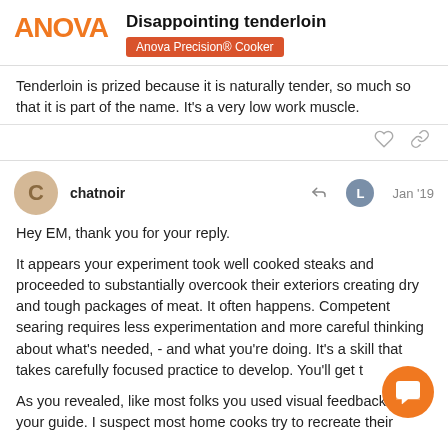ANOVA — Disappointing tenderloin — Anova Precision® Cooker
Tenderloin is prized because it is naturally tender, so much so that it is part of the name. It's a very low work muscle.
chatnoir — Jan '19
Hey EM, thank you for your reply.

It appears your experiment took well cooked steaks and proceeded to substantially overcook their exteriors creating dry and tough packages of meat. It often happens. Competent searing requires less experimentation and more careful thinking about what's needed, - and what you're doing. It's a skill that takes carefully focused practice to develop. You'll get t

As you revealed, like most folks you used visual feedback as your guide. I suspect most home cooks try to recreate their